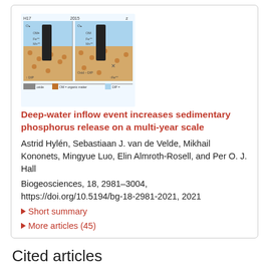[Figure (illustration): Scientific diagram showing deep-water inflow event with two panels (H17 and 2015), illustrating sediment, organic matter (OM), oxygen levels, Fe2+, Mn2+, and DIP fluxes. Legend at bottom: oxide, OM = organic matter, DIP =]
Deep-water inflow event increases sedimentary phosphorus release on a multi-year scale
Astrid Hylén, Sebastiaan J. van de Velde, Mikhail Kononets, Mingyue Luo, Elin Almroth-Rosell, and Per O. J. Hall
Biogeosciences, 18, 2981–3004, https://doi.org/10.5194/bg-18-2981-2021, 2021
▶ Short summary
▶ More articles (45)
Cited articles